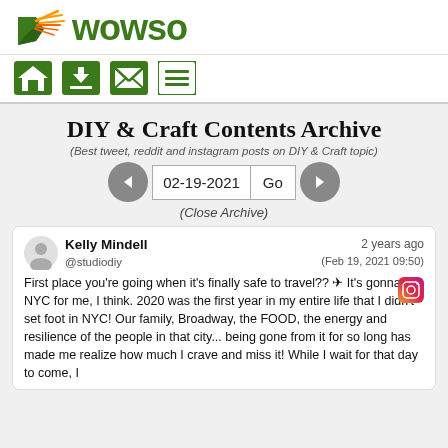[Figure (logo): WOWSO logo with green checkmark/document icon with orange rays and green bold text 'wowso']
[Figure (infographic): Navigation bar with home icon, download icon, envelope/X icon, and menu/hamburger icon, all in green]
DIY & Craft Contents Archive
(Best tweet, reddit and instagram posts on DIY & Craft topic)
02-19-2021  Go
(Close Archive)
Kelly Mindell @studiodiy 2 years ago (Feb 19, 2021 09:50) First place you're going when it's finally safe to travel?? ✈ It's gonna be NYC for me, I think. 2020 was the first year in my entire life that I didn't set foot in NYC! Our family, Broadway, the FOOD, the energy and resilience of the people in that city... being gone from it for so long has made me realize how much I crave and miss it! While I wait for that day to come, I